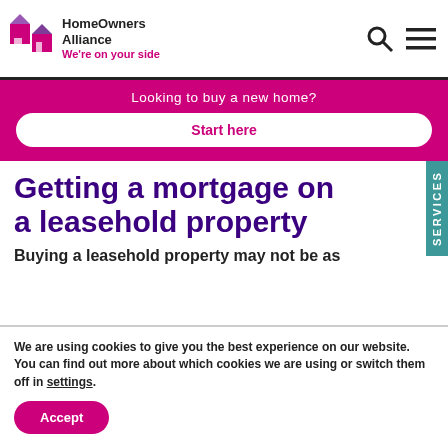HomeOwners Alliance — We're on your side
Looking to buy a new home?
Start here
Getting a mortgage on a leasehold property
Buying a leasehold property may not be as
We are using cookies to give you the best experience on our website. You can find out more about which cookies we are using or switch them off in settings.
Accept